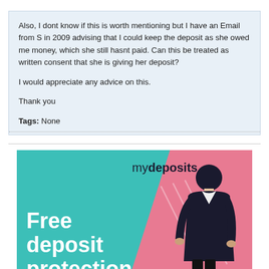Also, I dont know if this is worth mentioning but I have an Email from S in 2009 advising that I could keep the deposit as she owed me money, which she still hasnt paid. Can this be treated as written consent that she is giving her deposit?

I would appreciate any advice on this.

Thank you
Tags: None
[Figure (illustration): mydeposits advertisement banner showing 'Free deposit protection' text on a teal and pink background with a cartoon figure of a person in dark clothing]